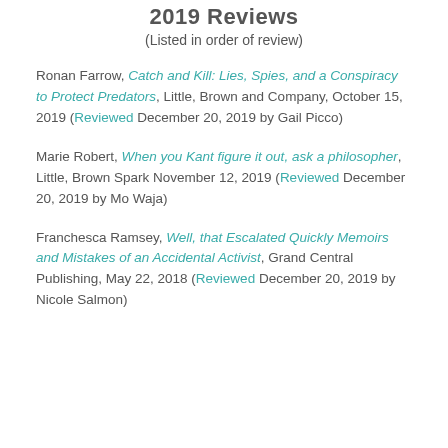2019 Reviews
(Listed in order of review)
Ronan Farrow, Catch and Kill: Lies, Spies, and a Conspiracy to Protect Predators, Little, Brown and Company, October 15, 2019 (Reviewed December 20, 2019 by Gail Picco)
Marie Robert, When you Kant figure it out, ask a philosopher, Little, Brown Spark November 12, 2019 (Reviewed December 20, 2019 by Mo Waja)
Franchesca Ramsey, Well, that Escalated Quickly Memoirs and Mistakes of an Accidental Activist, Grand Central Publishing, May 22, 2018 (Reviewed December 20, 2019 by Nicole Salmon)